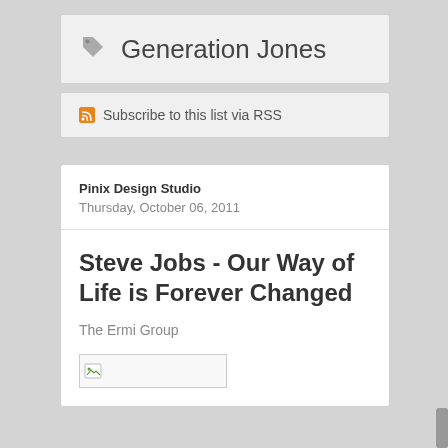Generation Jones
Subscribe to this list via RSS
Pinix Design Studio
Thursday, October 06, 2011
Steve Jobs - Our Way of Life is Forever Changed
The Ermi Group
[Figure (photo): Broken image placeholder with small image icon]